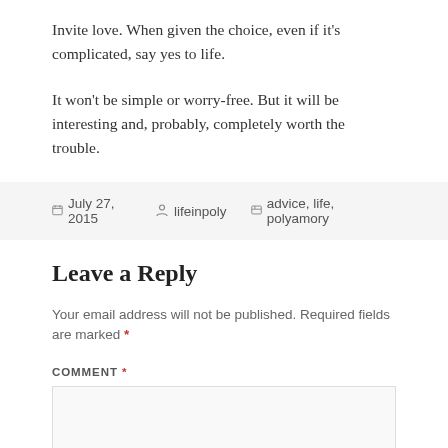Invite love. When given the choice, even if it's complicated, say yes to life.
It won't be simple or worry-free. But it will be interesting and, probably, completely worth the trouble.
July 27, 2015   lifeinpoly   advice, life, polyamory
Leave a Reply
Your email address will not be published. Required fields are marked *
COMMENT *